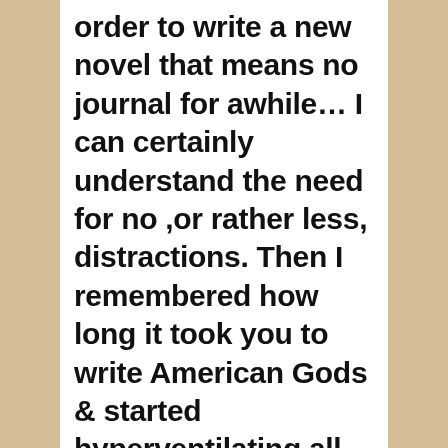order to write a new novel that means no journal for awhile... I can certainly understand the need for no ,or rather less, distractions. Then I remembered how long it took you to write American Gods & started hyperventilating all over again! Now after